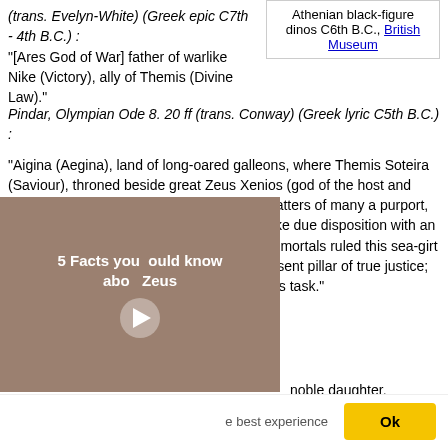(trans. Evelyn-White) (Greek epic C7th - 4th B.C.) :
"[Ares God of War] father of warlike Nike (Victory), ally of Themis (Divine Law)."
Athenian black-figure dinos C6th B.C., British Museum
Pindar, Olympian Ode 8. 20 ff (trans. Conway) (Greek lyric C5th B.C.) :
"Aigina (Aegina), land of long-oared galleons, where Themis Soteira (Saviour), throned beside great Zeus Xenios (god of the host and guest), is given abundant worship. For in matters of many a purport, veering on every wind that flows, fitly to make due disposition with an upright mind is hard indeed. Yet have the immortals ruled this sea-girt land shall be for strangers of all race a god-sent pillar of true justice; and may the rolling years uphold them in this task."
Pindar, Olympian Ode 9. 15 ff :
noble daughter, Eunomia (Good [Opous (Opus)] a bright jewel
[Figure (screenshot): Video overlay showing '5 Facts you should know about Zeus' with a play button, overlaid on a brownish image background]
e best experience
Ok